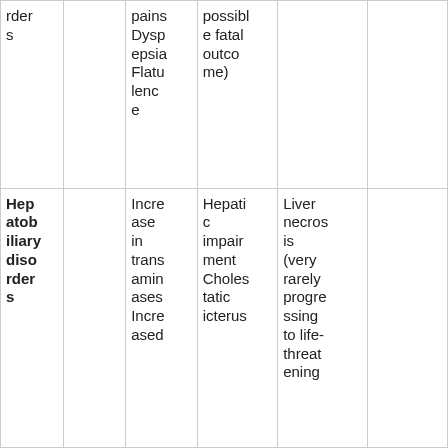| rders |  | pains Dyspepsia Flatulence | possible fatal outcome) |  |  |
| Hepatobiliary disorders |  | Increase in transaminases Increased | Hepatic impairment Cholestatic icterus | Liver necrosis (very rarely progressing to life-threatening |  |